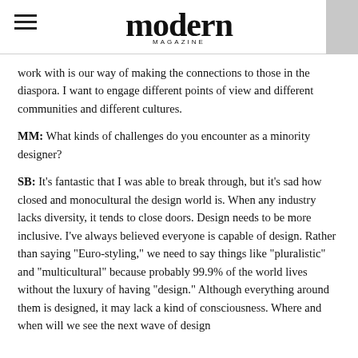modern magazine
work with is our way of making the connections to those in the diaspora. I want to engage different points of view and different communities and different cultures.
MM: What kinds of challenges do you encounter as a minority designer?
SB: It’s fantastic that I was able to break through, but it’s sad how closed and monocultural the design world is. When any industry lacks diversity, it tends to close doors. Design needs to be more inclusive. I’ve always believed everyone is capable of design. Rather than saying “Euro-styling,” we need to say things like “pluralistic” and “multicultural” because probably 99.9% of the world lives without the luxury of having “design.” Although everything around them is designed, it may lack a kind of consciousness. Where and when will we see the next wave of design